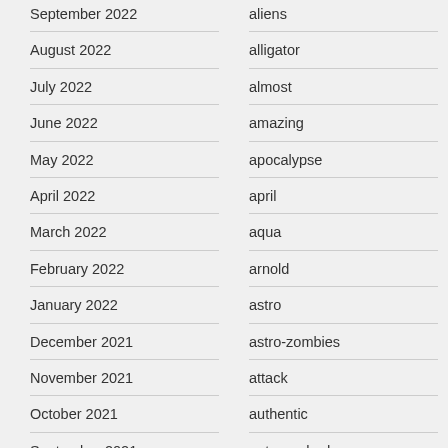September 2022
August 2022
July 2022
June 2022
May 2022
April 2022
March 2022
February 2022
January 2022
December 2021
November 2021
October 2021
September 2021
August 2021
July 2021
aliens
alligator
almost
amazing
apocalypse
april
aqua
arnold
astro
astro-zombies
attack
authentic
autographed
avengers
babes